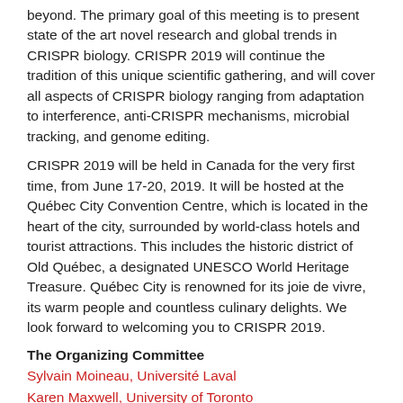beyond. The primary goal of this meeting is to present state of the art novel research and global trends in CRISPR biology. CRISPR 2019 will continue the tradition of this unique scientific gathering, and will cover all aspects of CRISPR biology ranging from adaptation to interference, anti-CRISPR mechanisms, microbial tracking, and genome editing.
CRISPR 2019 will be held in Canada for the very first time, from June 17-20, 2019. It will be hosted at the Québec City Convention Centre, which is located in the heart of the city, surrounded by world-class hotels and tourist attractions. This includes the historic district of Old Québec, a designated UNESCO World Heritage Treasure. Québec City is renowned for its joie de vivre, its warm people and countless culinary delights. We look forward to welcoming you to CRISPR 2019.
The Organizing Committee
Sylvain Moineau, Université Laval
Karen Maxwell, University of Toronto
Alan Davidson, University of Toronto
The Local Organizing Committee
Sylvain Moineau, Université Laval
Denise Tremblay, Université Laval